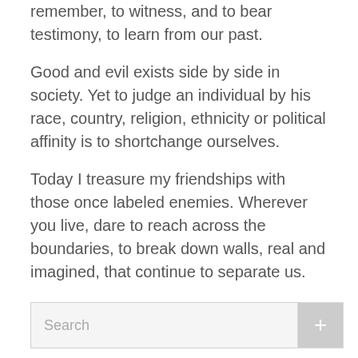remember, to witness, and to bear testimony, to learn from our past.
Good and evil exists side by side in society. Yet to judge an individual by his race, country, religion, ethnicity or political affinity is to shortchange ourselves.
Today I treasure my friendships with those once labeled enemies. Wherever you live, dare to reach across the boundaries, to break down walls, real and imagined, that continue to separate us.